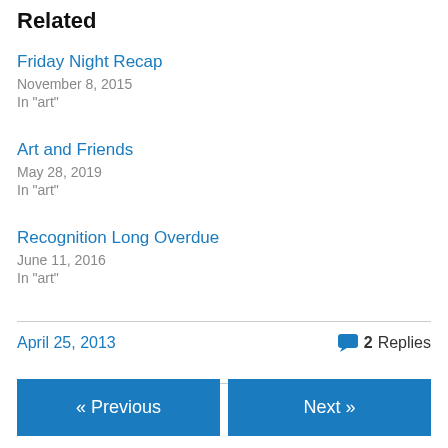Related
Friday Night Recap
November 8, 2015
In "art"
Art and Friends
May 28, 2019
In "art"
Recognition Long Overdue
June 11, 2016
In "art"
April 25, 2013    2 Replies
« Previous
Next »